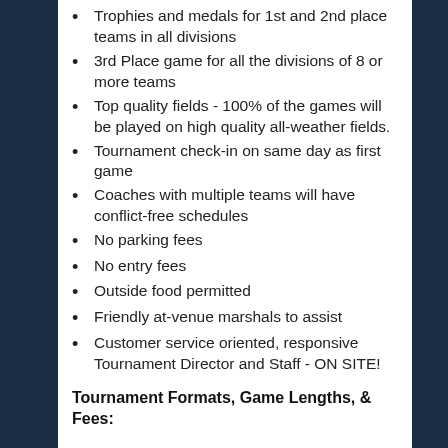Trophies and medals for 1st and 2nd place teams in all divisions
3rd Place game for all the divisions of 8 or more teams
Top quality fields - 100% of the games will be played on high quality all-weather fields.
Tournament check-in on same day as first game
Coaches with multiple teams will have conflict-free schedules
No parking fees
No entry fees
Outside food permitted
Friendly at-venue marshals to assist
Customer service oriented, responsive Tournament Director and Staff - ON SITE!
Tournament Formats, Game Lengths, & Fees: